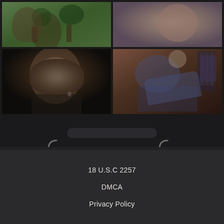[Figure (photo): 2x3 grid of video thumbnails. Top-left: outdoor scene with trees and a figure. Top-right: close-up of a person's face/shoulder. Middle-left: dark portrait of a young man. Middle-right: person seated in a chair in a room with bookshelves. Bottom-left and bottom-right: dark loading placeholders with spinner arc icons.]
18 U.S.C 2257
DMCA
Privacy Policy